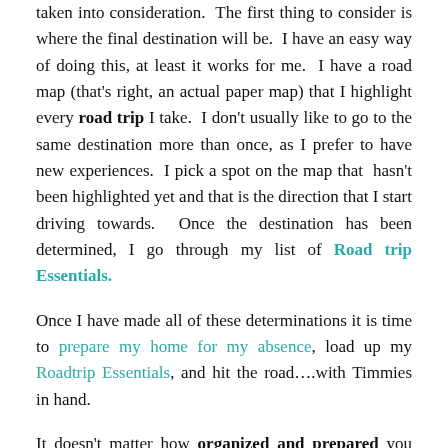taken into consideration. The first thing to consider is where the final destination will be. I have an easy way of doing this, at least it works for me. I have a road map (that's right, an actual paper map) that I highlight every road trip I take. I don't usually like to go to the same destination more than once, as I prefer to have new experiences. I pick a spot on the map that hasn't been highlighted yet and that is the direction that I start driving towards. Once the destination has been determined, I go through my list of Road trip Essentials.
Once I have made all of these determinations it is time to prepare my home for my absence, load up my Roadtrip Essentials, and hit the road….with Timmies in hand.
It doesn't matter how organized and prepared you are during the planning stages of your road trip, you won't be